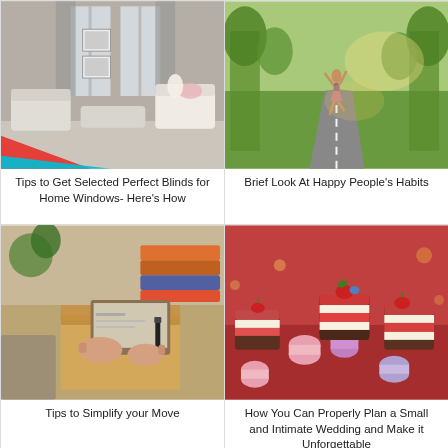[Figure (photo): Interior room with light grey/beige sofas, curtains, windows, and a red/teal geometric shape overlay in the corner]
Tips to Get Selected Perfect Blinds for Home Windows- Here's How
[Figure (photo): Woman dancing/jumping on a road through a green park with trees]
Brief Look At Happy People's Habits
[Figure (photo): Person packing/unpacking cardboard moving boxes, writing with a marker, clipboard visible]
Tips to Simplify your Move
[Figure (photo): Colorful small desserts and pastries including macarons and strawberry topped cakes on a table with red background]
How You Can Properly Plan a Small and Intimate Wedding and Make it Unforgettable